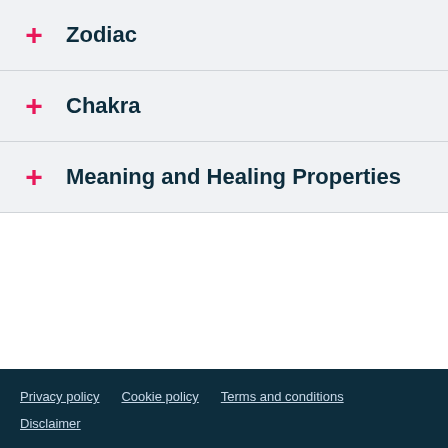+ Zodiac
+ Chakra
+ Meaning and Healing Properties
Privacy policy   Cookie policy   Terms and conditions   Disclaimer